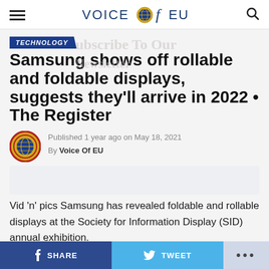VOICE of EU
TECHNOLOGY
Samsung shows off rollable and foldable displays, suggests they'll arrive in 2022 • The Register
Published 1 year ago on May 18, 2021
By Voice Of EU
Vid 'n' pics Samsung has revealed foldable and rollable displays at the Society for Information Display (SID) annual exhibition.
Organic light-emitting diodes are the key to the new
SHARE   TWEET   ...